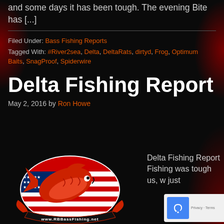and some days it has been tough. The evening Bite has [...]
Filed Under: Bass Fishing Reports
Tagged With: #River2sea, Delta, DeltaRats, dirtyd, Frog, Optimum Baits, SnagProof, Spiderwire
Delta Fishing Report
May 2, 2016 by Ron Howe
[Figure (logo): RB Bass Fishing logo with red bass fish and American flag design, www.RBBassFishing.net]
Delta Fishing Report Fishing was tough us, w just